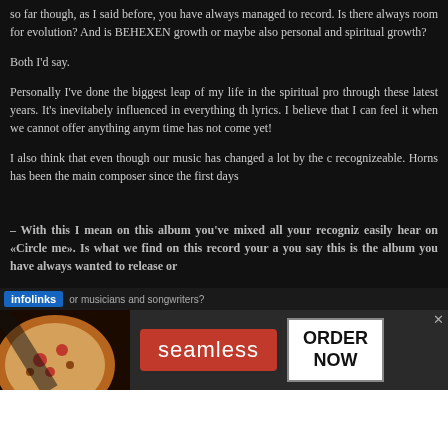so far though, as I said before, you have always managed to record. Is there always room for evolution? And is BEHEXEN growth or maybe also personal and spiritual growth?
Both I'd say.
Personally I've done the biggest leap of my life in the spiritual pro through these latest years. It's inevitabely influenced in everything th lyrics. I believe that I can feel it when we cannot offer anything anym time has not come yet!
I also think that even though our music has changed a lot by the c recognizeable. Horns has been the main composer since the first days
– With this I mean on this album you've mixed all your recogniz easily hear on «Circle me». Is what we find on this record your a you say this is the album you have always wanted to release or or musicians and songwriters?
[Figure (screenshot): Seamless food delivery advertisement banner with pizza image, red seamless logo button, and ORDER NOW button on dark background]